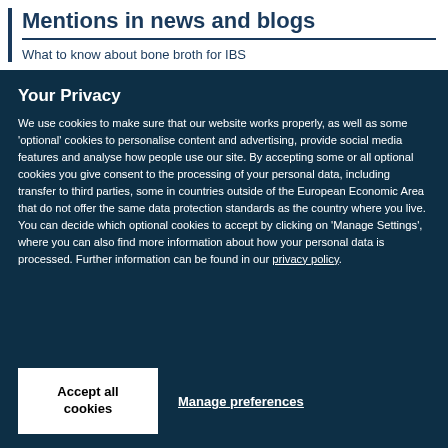Mentions in news and blogs
What to know about bone broth for IBS
Your Privacy
We use cookies to make sure that our website works properly, as well as some 'optional' cookies to personalise content and advertising, provide social media features and analyse how people use our site. By accepting some or all optional cookies you give consent to the processing of your personal data, including transfer to third parties, some in countries outside of the European Economic Area that do not offer the same data protection standards as the country where you live. You can decide which optional cookies to accept by clicking on 'Manage Settings', where you can also find more information about how your personal data is processed. Further information can be found in our privacy policy.
Accept all cookies
Manage preferences